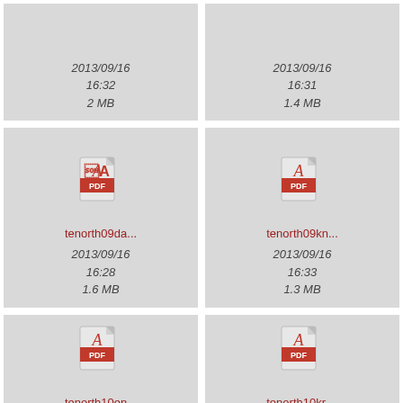[Figure (screenshot): File browser screenshot showing PDF file icons arranged in a 2-column grid. Top row shows two truncated files with dates 2013/09/16 16:32 2MB and 2013/09/16 16:31 1.4MB. Middle row shows tenorth09da... (2013/09/16 16:28 1.6 MB) and tenorth09kn... (2013/09/16 16:33 1.3 MB). Bottom row shows tenorth10en... and tenorth10kr....]